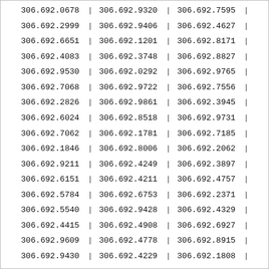| col1 | col2 | col3 |
| --- | --- | --- |
| 306.692.0678 | 306.692.9320 | 306.692.7595 |
| 306.692.2999 | 306.692.9406 | 306.692.4627 |
| 306.692.6651 | 306.692.1201 | 306.692.8171 |
| 306.692.4083 | 306.692.3748 | 306.692.8827 |
| 306.692.9530 | 306.692.0292 | 306.692.9765 |
| 306.692.7068 | 306.692.9722 | 306.692.7556 |
| 306.692.2826 | 306.692.9861 | 306.692.3945 |
| 306.692.6024 | 306.692.8518 | 306.692.9731 |
| 306.692.7062 | 306.692.1781 | 306.692.7185 |
| 306.692.1846 | 306.692.8006 | 306.692.2062 |
| 306.692.9211 | 306.692.4249 | 306.692.3897 |
| 306.692.6151 | 306.692.4211 | 306.692.4757 |
| 306.692.5784 | 306.692.6753 | 306.692.2371 |
| 306.692.5540 | 306.692.9428 | 306.692.4329 |
| 306.692.4415 | 306.692.4908 | 306.692.6927 |
| 306.692.9609 | 306.692.4778 | 306.692.8915 |
| 306.692.9430 | 306.692.4229 | 306.692.1808 |
| 306.692.4205 | 306.692.9396 | 306.692.4079 |
| 306.692.9221 | 306.692.8482 | 306.692.0992 |